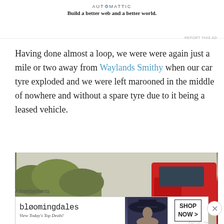[Figure (logo): Automattic logo with tagline: Build a better web and a better world.]
REPORT THIS AD
Having done almost a loop, we were were again just a mile or two away from Waylands Smithy when our car tyre exploded and we were left marooned in the middle of nowhere and without a spare tyre due to it being a leased vehicle.
[Figure (photo): Photo of a red car with a flat tyre on the ground beside grass, with a yellow jack visible underneath the car body.]
Advertisements
[Figure (other): Bloomingdales advertisement banner: logo text, 'View Today's Top Deals!', image of woman in hat, 'SHOP NOW >' button.]
REPORT THIS AD